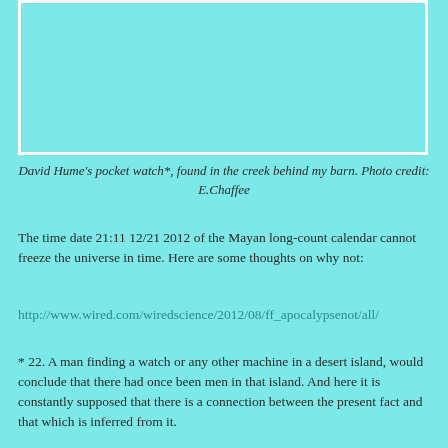[Figure (photo): Cyan/turquoise colored image placeholder box representing David Hume's pocket watch found in a creek behind a barn.]
David Hume's pocket watch*, found in the creek behind my barn. Photo credit:  E.Chaffee
The time date 21:11 12/21 2012 of the Mayan long-count calendar cannot freeze the universe in time. Here are some thoughts on why not:
http://www.wired.com/wiredscience/2012/08/ff_apocalypsenot/all/
* 22.  A man finding a watch or any other machine in a desert island, would conclude that there had once been men in that island.  And here it is constantly supposed that there is a connection between the present fact and that which is inferred from it.